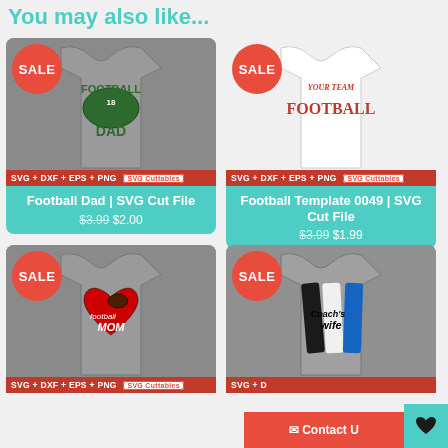You may also like...
[Figure (photo): Football Dad SVG Cut File product image on gray shirt with SALE badge and SVG+DXF+EPS+PNG banner]
Football Dad | SVG Cut File
$3.99 $2.00
[Figure (photo): Football Template 0049 SVG Cut File product image on white shirt with YOUR TEAM FOOTBALL text, SALE badge and SVG+DXF+EPS+PNG banner]
Football Template 0049 | SVG Cut File
$3.99 $1.99
[Figure (photo): Football Mom SVG Cut File product image on gray shirt with heart football design, SALE badge and SVG+DXF+EPS+PNG banner]
[Figure (photo): Coach's Wife SVG Cut File product image on gray shirt with blue brush stroke design, SALE badge and SVG+D banner]
Contact Us